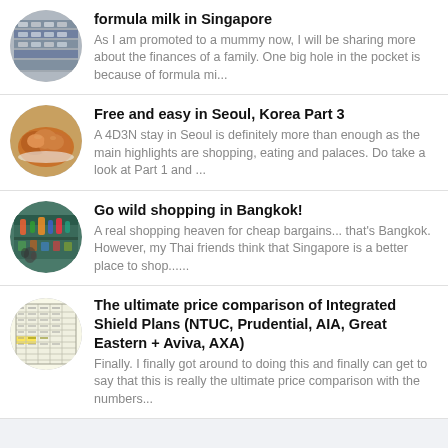formula milk in Singapore
As I am promoted to a mummy now, I will be sharing more about the finances of a family. One big hole in the pocket is because of formula mi...
Free and easy in Seoul, Korea Part 3
A 4D3N stay in Seoul is definitely more than enough as the main highlights are shopping, eating and palaces. Do take a look at Part 1 and ...
Go wild shopping in Bangkok!
A real shopping heaven for cheap bargains... that's Bangkok. However, my Thai friends think that Singapore is a better place to shop......
The ultimate price comparison of Integrated Shield Plans (NTUC, Prudential, AIA, Great Eastern + Aviva, AXA)
Finally. I finally got around to doing this and finally can get to say that this is really the ultimate price comparison with the numbers...